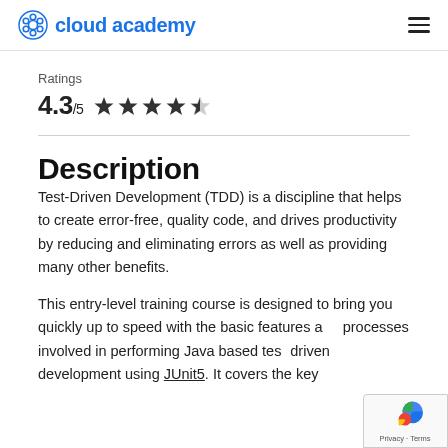cloud academy
Ratings
4.3/5 ★★★★☆
Description
Test-Driven Development (TDD) is a discipline that helps to create error-free, quality code, and drives productivity by reducing and eliminating errors as well as providing many other benefits.
This entry-level training course is designed to bring you quickly up to speed with the basic features and processes involved in performing Java based test-driven development using JUnit5. It covers the key